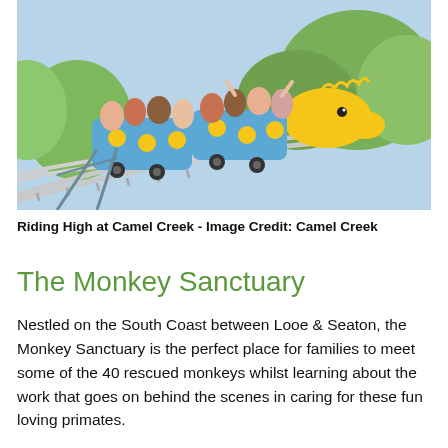[Figure (photo): Children and teenagers riding a blue and yellow roller coaster called 'Riding High at Camel Creek'. The coaster cars are bright blue with yellow circle decorations, and the front car is shaped like a yellow dragon head. Riders are waving and smiling. Track rails are visible in the foreground, with green trees in the background.]
Riding High at Camel Creek - Image Credit: Camel Creek
The Monkey Sanctuary
Nestled on the South Coast between Looe & Seaton, the Monkey Sanctuary is the perfect place for families to meet some of the 40 rescued monkeys whilst learning about the work that goes on behind the scenes in caring for these fun loving primates.